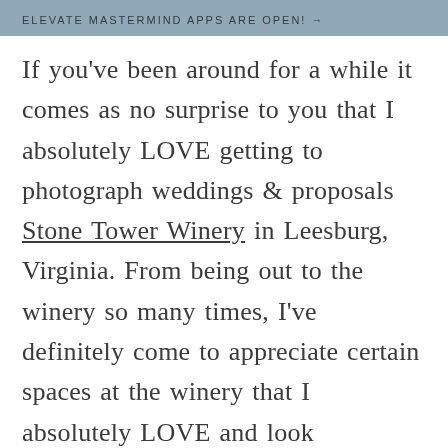ELEVATE MASTERMIND APPS ARE OPEN! →
If you've been around for a while it comes as no surprise to you that I absolutely LOVE getting to photograph weddings & proposals Stone Tower Winery in Leesburg, Virginia. From being out to the winery so many times, I've definitely come to appreciate certain spaces at the winery that I absolutely LOVE and look incredible in pictures!